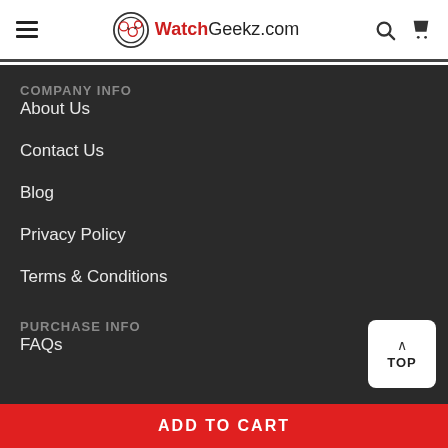WatchGeekz.com
COMPANY INFO
About Us
Contact Us
Blog
Privacy Policy
Terms & Conditions
PURCHASE INFO
FAQs
TOP
ADD TO CART